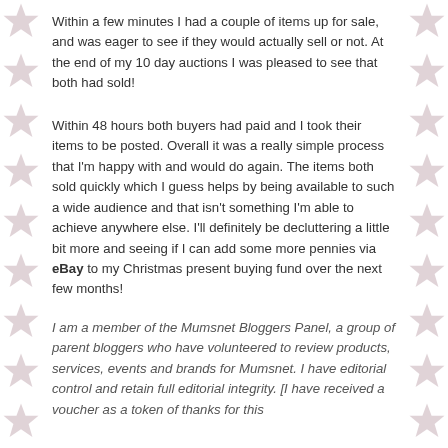Within a few minutes I had a couple of items up for sale, and was eager to see if they would actually sell or not.  At the end of my 10 day auctions I was pleased to see that both had sold!
Within 48 hours both buyers had paid and I took their items to be posted.  Overall it was a really simple process that I'm happy with and would do again.  The items both sold quickly which I guess helps by being available to such a wide audience and that isn't something I'm able to achieve anywhere else.  I'll definitely be decluttering a little bit more and seeing if I can add some more pennies via eBay to my Christmas present buying fund over the next few months!
I am a member of the Mumsnet Bloggers Panel, a group of parent bloggers who have volunteered to review products, services, events and brands for Mumsnet. I have editorial control and retain full editorial integrity. [I have received a voucher as a token of thanks for this